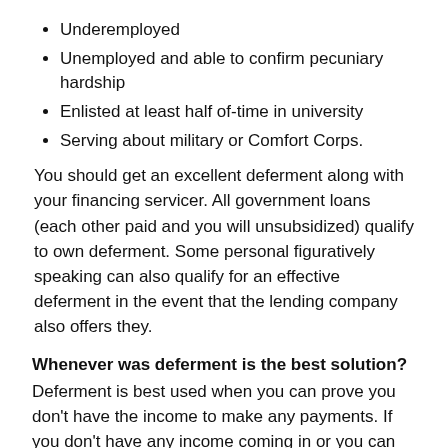Underemployed
Unemployed and able to confirm pecuniary hardship
Enlisted at least half of-time in university
Serving about military or Comfort Corps.
You should get an excellent deferment along with your financing servicer. All government loans (each other paid and you will unsubsidized) qualify to own deferment. Some personal figuratively speaking can also qualify for an effective deferment in the event that the lending company also offers they.
Whenever was deferment is the best solution?
Deferment is best used when you can prove you don't have the income to make any payments. If you don't have any income coming in or you can show that your income doesn't cover your bills and other expenses, then deferment is the way to go.